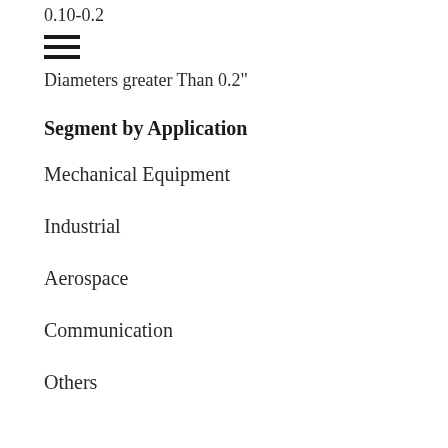0.10-0.2
[Figure (other): Hamburger menu icon with three horizontal lines]
Diameters greater Than 0.2"
Segment by Application
Mechanical Equipment
Industrial
Aerospace
Communication
Others